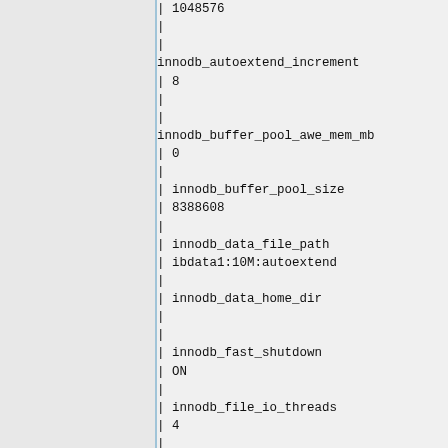| 1048576
|
|
innodb_autoextend_increment
| 8
|
|
innodb_buffer_pool_awe_mem_mb
| 0
|
| innodb_buffer_pool_size
| 8388608
|
| innodb_data_file_path
| ibdata1:10M:autoextend
|
| innodb_data_home_dir
|
|
| innodb_fast_shutdown
| ON
|
| innodb_file_io_threads
| 4
|